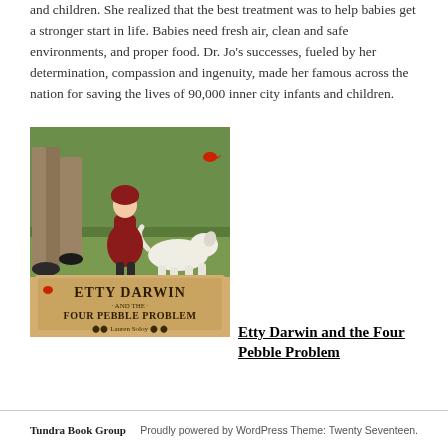and children. She realized that the best treatment was to help babies get a stronger start in life. Babies need fresh air, clean and safe environments, and proper food. Dr. Jo's successes, fueled by her determination, compassion and ingenuity, made her famous across the nation for saving the lives of 90,000 inner city infants and children.
[Figure (illustration): Book cover of 'Etty Darwin and the Four Pebble Problem' by Lauren Soloy, showing a young girl in a red dress and red hat walking with a white dog, with adult legs visible and a green leafy background.]
Etty Darwin and the Four Pebble Problem
Tundra Book Group      Proudly powered by WordPress Theme: Twenty Seventeen.